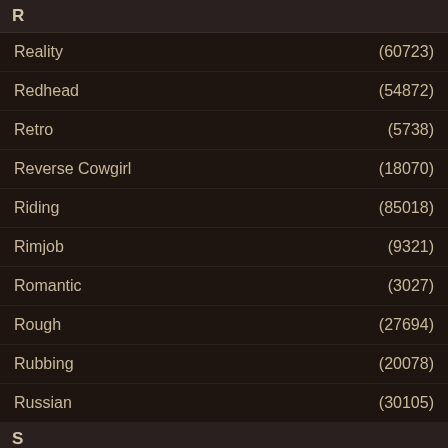R
Reality (60723)
Redhead (54872)
Retro (5738)
Reverse Cowgirl (18070)
Riding (85018)
Rimjob (9321)
Romantic (3027)
Rough (27694)
Rubbing (20078)
Russian (30105)
S